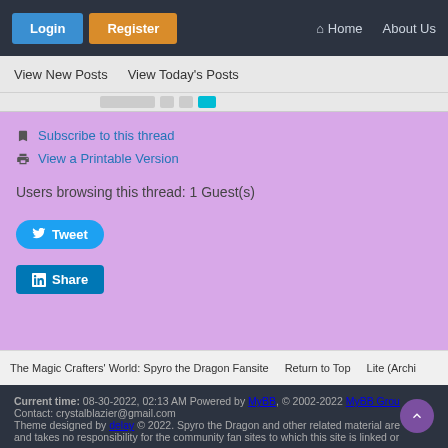Login | Register | Home | About Us
View New Posts  View Today's Posts
Subscribe to this thread
View a Printable Version
Users browsing this thread: 1 Guest(s)
The Magic Crafters' World: Spyro the Dragon Fansite  Return to Top  Lite (Archi...
Current time: 08-30-2022, 02:13 AM Powered by MyBB, © 2002-2022 MyBB Group. Contact: crystalblazier@gmail.com Theme designed by delay © 2022. Spyro the Dragon and other related material are... and takes no responsibility for the community fan sites to which this site is linked or...